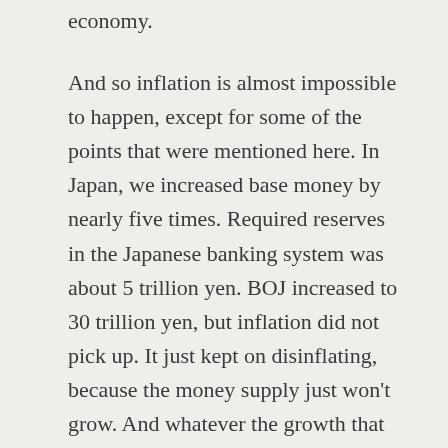economy.
And so inflation is almost impossible to happen, except for some of the points that were mentioned here. In Japan, we increased base money by nearly five times. Required reserves in the Japanese banking system was about 5 trillion yen. BOJ increased to 30 trillion yen, but inflation did not pick up. It just kept on disinflating, because the money supply just won't grow. And whatever the growth that we saw in the Japanese money supply is entirely due to government borrowing.
So someone has to borrow money to increase bank assets. And it was their government borrowing that kept the bank assets up, which kept the money